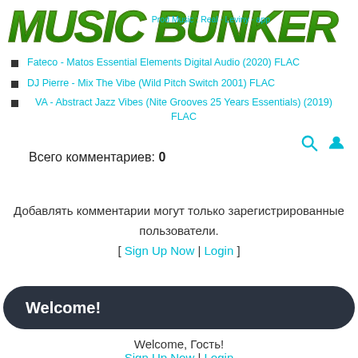[Figure (logo): Music Bunker graffiti-style green logo with stylized lettering]
Fateco - Matos Essential Elements Digital Audio (2020) FLAC
DJ Pierre - Mix The Vibe (Wild Pitch Switch 2001) FLAC
VA - Abstract Jazz Vibes (Nite Grooves 25 Years Essentials) (2019) FLAC
Всего комментариев: 0
Добавлять комментарии могут только зарегистрированные пользователи.
[ Sign Up Now | Login ]
Welcome!
Welcome, Гость!
Sign Up Now | Login